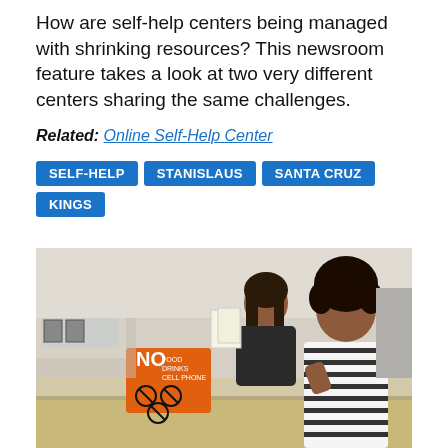How are self-help centers being managed with shrinking resources? This newsroom feature takes a look at two very different centers sharing the same challenges.
Related: Online Self-Help Center
SELF-HELP
STANISLAUS
SANTA CRUZ
KINGS
[Figure (photo): A person with dark curly hair in a striped shirt stands at a counter facing a court self-help center staff member. An orange sign reading 'NO FOOD DRINKS CELL PHONE' with prohibition symbols is visible on the counter.]